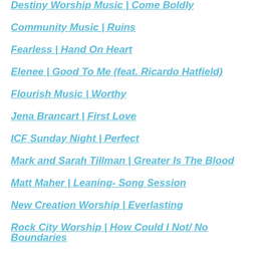Destiny Worship Music | Come Boldly
Community Music | Ruins
Fearless | Hand On Heart
Elenee | Good To Me (feat. Ricardo Hatfield)
Flourish Music | Worthy
Jena Brancart | First Love
ICF Sunday Night | Perfect
Mark and Sarah Tillman | Greater Is The Blood
Matt Maher | Leaning- Song Session
New Creation Worship | Everlasting
Rock City Worship | How Could I Not/ No Boundaries